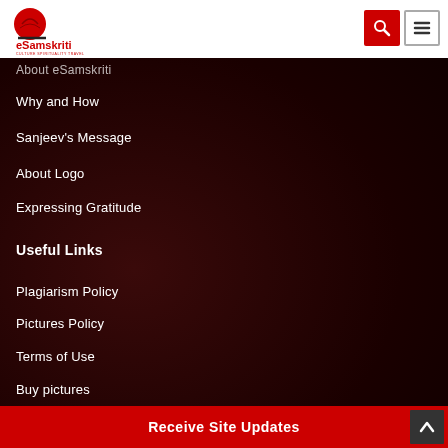eSamskriti — Culture Spirituality Travel
About eSamskriti
Why and How
Sanjeev's Message
About Logo
Expressing Gratitude
Useful Links
Plagiarism Policy
Pictures Policy
Terms of Use
Buy pictures
Receive Site Updates